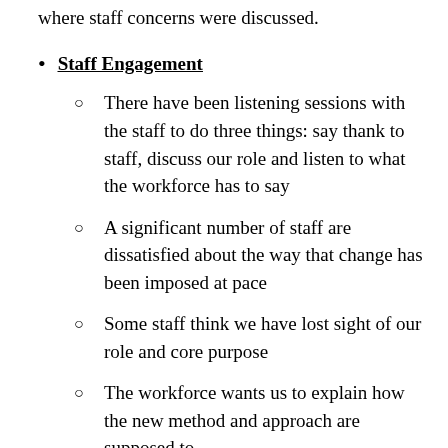where staff concerns were discussed.
Staff Engagement
There have been listening sessions with the staff to do three things: say thank to staff, discuss our role and listen to what the workforce has to say
A significant number of staff are dissatisfied about the way that change has been imposed at pace
Some staff think we have lost sight of our role and core purpose
The workforce wants us to explain how the new method and approach are supposed to